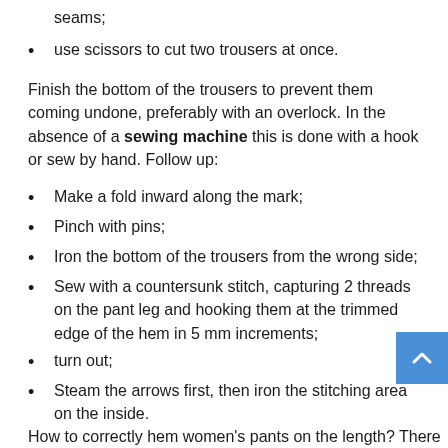seams;
use scissors to cut two trousers at once.
Finish the bottom of the trousers to prevent them coming undone, preferably with an overlock. In the absence of a sewing machine this is done with a hook or sew by hand. Follow up:
Make a fold inward along the mark;
Pinch with pins;
Iron the bottom of the trousers from the wrong side;
Sew with a countersunk stitch, capturing 2 threads on the pant leg and hooking them at the trimmed edge of the hem in 5 mm increments;
turn out;
Steam the arrows first, then iron the stitching area on the inside.
How to correctly hem women's pants on the length? There